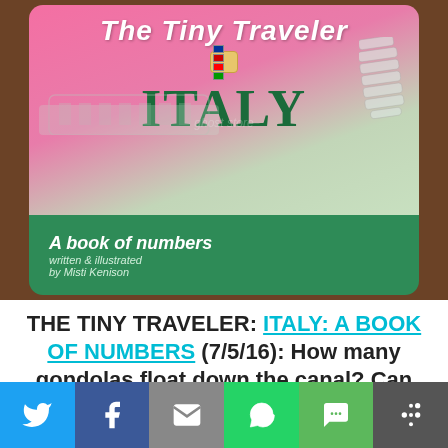[Figure (photo): Photo of a children's book titled 'The Tiny Traveler: ITALY – A book of numbers, written & illustrated by Misti Kenison'. The cover has a pink gradient top with the title in white, a suitcase with flags, ITALY in large green letters, illustrations of the Colosseum and Leaning Tower of Pisa, and a green bottom section. Book is on a wooden desk near a laptop and a globe.]
THE TINY TRAVELER: ITALY: A BOOK OF NUMBERS (7/5/16): How many gondolas float down the canal? Can you count the number of masks at Carnival? Travel from Rome to Venice as you and your little one count your
[Figure (other): Social media share bar with buttons: Twitter (blue), Facebook (dark blue), Email (gray), WhatsApp (green), SMS (green), More (dark gray)]